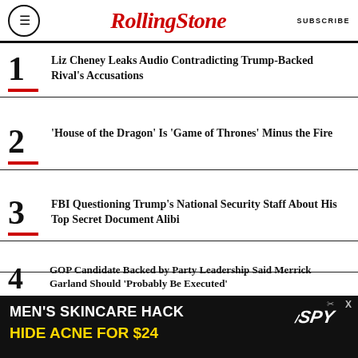RollingStone | SUBSCRIBE
1. Liz Cheney Leaks Audio Contradicting Trump-Backed Rival's Accusations
2. 'House of the Dragon' Is 'Game of Thrones' Minus the Fire
3. FBI Questioning Trump's National Security Staff About His Top Secret Document Alibi
4. GOP Candidate Backed by Party Leadership Said Merrick Garland Should 'Probably Be Executed'
5. Q Lazzarus, Cult Favorite Behind 'Goodbye Horses' Who Disappeared for Decades, Dead at 61
[Figure (infographic): Advertisement banner: MEN'S SKINCARE HACK - HIDE ACNE FOR $24 with SPY logo on black background]